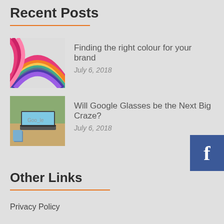Recent Posts
Finding the right colour for your brand | July 6, 2018
Will Google Glasses be the Next Big Craze? | July 6, 2018
Other Links
Privacy Policy
Terms and Conditions
[Figure (illustration): Facebook button icon showing the letter f on a blue background, positioned at the right edge of the page]